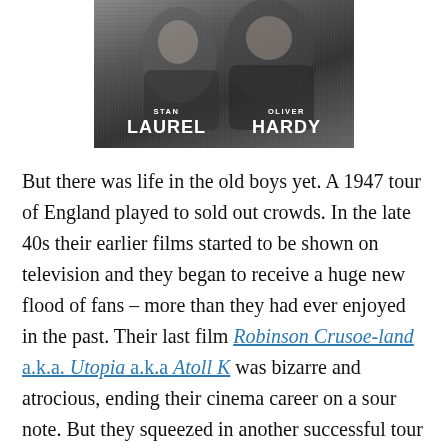[Figure (photo): Black and white photo of Stan Laurel and Oliver Hardy with their names displayed in white bold text overlay at the bottom of the image.]
But there was life in the old boys yet. A 1947 tour of England played to sold out crowds. In the late 40s their earlier films started to be shown on television and they began to receive a huge new flood of fans – more than they had ever enjoyed in the past. Their last film Robinson Crusoe-land a.k.a. Utopia a.k.a Atoll K was bizarre and atrocious, ending their cinema career on a sour note. But they squeezed in another successful tour before strokes felled both Laurel (1955) and